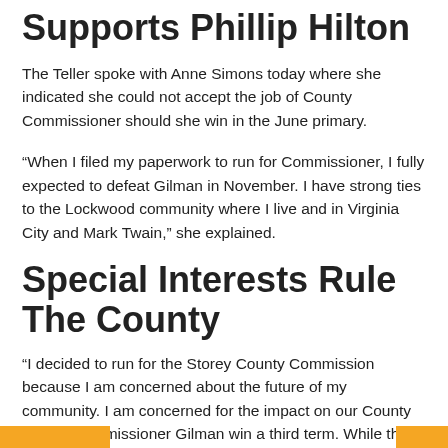Supports Phillip Hilton
The Teller spoke with Anne Simons today where she indicated she could not accept the job of County Commissioner should she win in the June primary.
“When I filed my paperwork to run for Commissioner, I fully expected to defeat Gilman in November. I have strong ties to the Lockwood community where I live and in Virginia City and Mark Twain,” she explained.
Special Interests Rule The County
“I decided to run for the Storey County Commission because I am concerned about the future of my community. I am concerned for the impact on our County should Commissioner Gilman win a third term. While there have been good things coming from Gilman’s industrial park, there have been negative impacts on our community. I chose to run because I saw the setbacks we endure with the focus on turning our county away to the special interests. I could not sit on